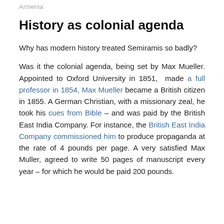Armenia
History as colonial agenda
Why has modern history treated Semiramis so badly?
Was it the colonial agenda, being set by Max Mueller. Appointed to Oxford University in 1851, made a full professor in 1854, Max Mueller became a British citizen in 1855. A German Christian, with a missionary zeal, he took his cues from Bible – and was paid by the British East India Company. For instance, the British East India Company commissioned him to produce propaganda at the rate of 4 pounds per page. A very satisfied Max Muller, agreed to write 50 pages of manuscript every year – for which he would be paid 200 pounds.